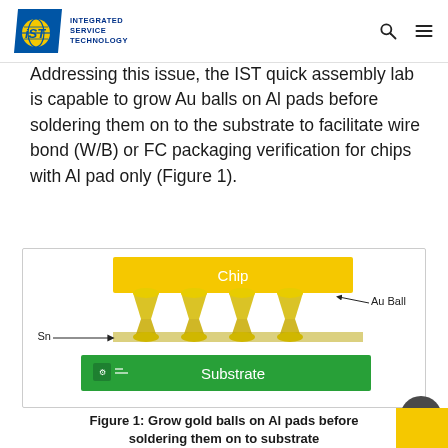[Figure (logo): IST Integrated Service Technology logo — blue parallelogram background with yellow circular globe graphic and 'iST' text, alongside blue text 'INTEGRATED SERVICE TECHNOLOGY']
Addressing this issue, the IST quick assembly lab is capable to grow Au balls on Al pads before soldering them on to the substrate to facilitate wire bond (W/B) or FC packaging verification for chips with Al pad only (Figure 1).
[Figure (schematic): Cross-section schematic showing a yellow 'Chip' block on top, four hourglass-shaped Au Ball solder joints connecting to a green 'Substrate' block below. Labels: 'Sn' arrow pointing to solder layer on left, 'Au Ball' label on right.]
Figure 1: Grow gold balls on Al pads before soldering them on to substrate